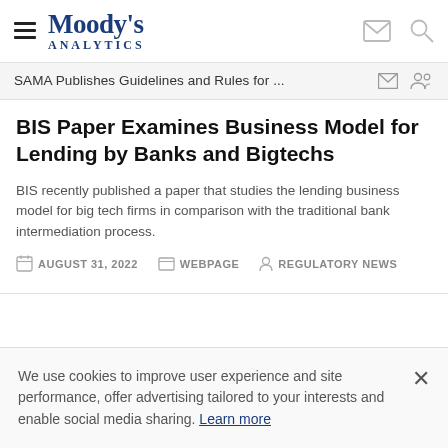Moody's Analytics
SAMA Publishes Guidelines and Rules for ...
BIS Paper Examines Business Model for Lending by Banks and Bigtechs
BIS recently published a paper that studies the lending business model for big tech firms in comparison with the traditional bank intermediation process.
AUGUST 31, 2022   WEBPAGE   REGULATORY NEWS
We use cookies to improve user experience and site performance, offer advertising tailored to your interests and enable social media sharing. Learn more